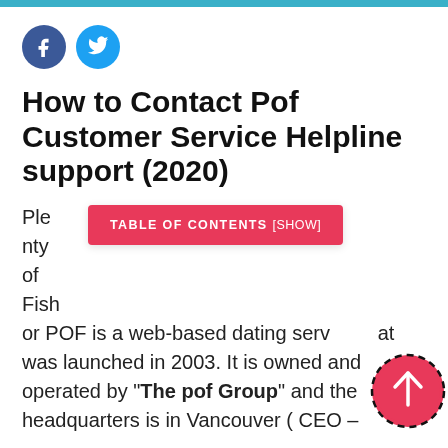[Figure (logo): Facebook and Twitter social media icon circles — Facebook (dark blue) and Twitter (light blue)]
How to Contact Pof Customer Service Helpline support (2020)
Plenty of Fish or POF is a web-based dating service that was launched in 2003. It is owned and operated by "The pof Group" and the headquarters is in Vancouver ( CEO –